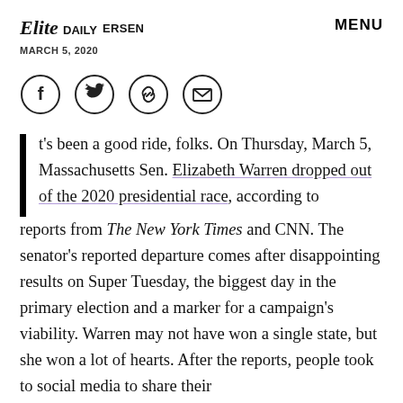Elite Daily | MARCH 5, 2020 | MENU
[Figure (infographic): Social sharing icons: Facebook, Twitter, Link/chain, Email — each in a circle outline]
It's been a good ride, folks. On Thursday, March 5, Massachusetts Sen. Elizabeth Warren dropped out of the 2020 presidential race, according to reports from The New York Times and CNN. The senator's reported departure comes after disappointing results on Super Tuesday, the biggest day in the primary election and a marker for a campaign's viability. Warren may not have won a single state, but she won a lot of hearts. After the reports, people took to social media to share their